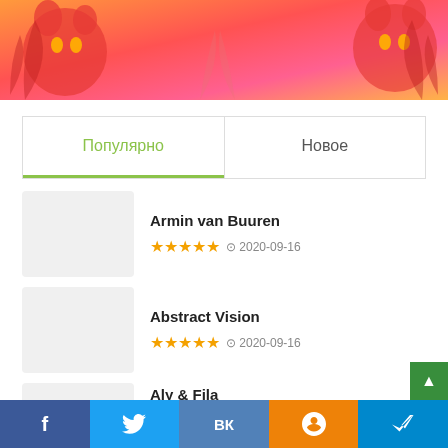[Figure (illustration): Colorful banner with orange-red gradient background, cartoon cats and tropical leaves decoration]
| Популярно | Новое |
| --- | --- |
Armin van Buuren — ★★★★★ 2020-09-16
Abstract Vision — ★★★★★ 2020-09-16
Aly & Fila — ★★★★★ 2020-09-16
f  Twitter  VK  OK  Telegram